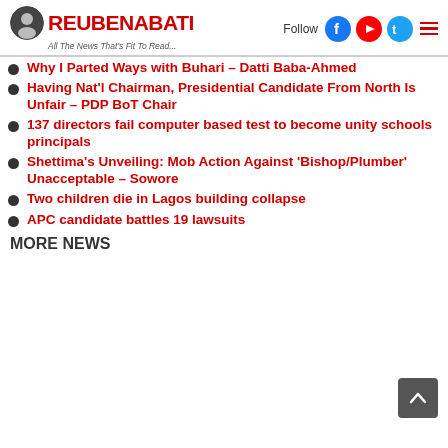ReubenAbati — All The News That's Fit To Read...
Why I Parted Ways with Buhari – Datti Baba-Ahmed
Having Nat'l Chairman, Presidential Candidate From North Is Unfair – PDP BoT Chair
137 directors fail computer based test to become unity schools principals
Shettima's Unveiling: Mob Action Against 'Bishop/Plumber' Unacceptable – Sowore
Two children die in Lagos building collapse
APC candidate battles 19 lawsuits
MORE NEWS